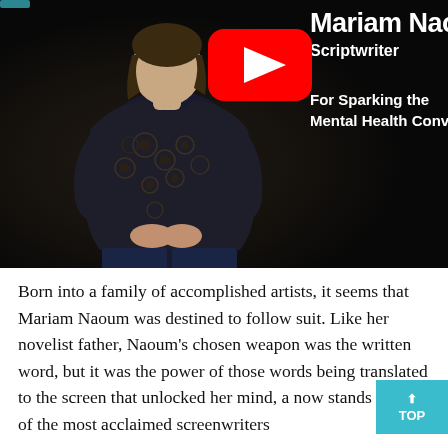[Figure (screenshot): YouTube video thumbnail showing a woman (Mariam Naoum) sitting against a dark background wearing a floral patterned dark sweater. Overlaid text reads 'Mariam Nao... Scriptwriter For Sparking the Mental Health Conver...' with a YouTube play button in the center.]
Born into a family of accomplished artists, it seems that Mariam Naoum was destined to follow suit. Like her novelist father, Naoum's chosen weapon was the written word, but it was the power of those words being translated to the screen that unlocked her mind, a now stands as one of the most acclaimed screenwriters